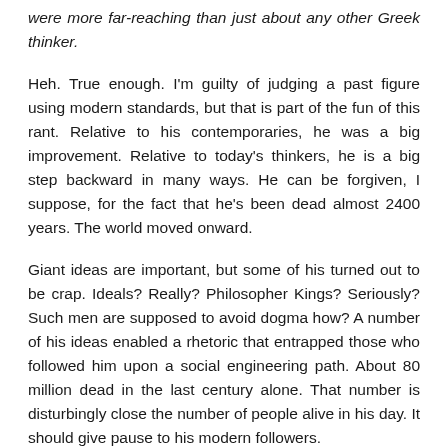were more far-reaching than just about any other Greek thinker.
Heh. True enough. I'm guilty of judging a past figure using modern standards, but that is part of the fun of this rant. Relative to his contemporaries, he was a big improvement. Relative to today's thinkers, he is a big step backward in many ways. He can be forgiven, I suppose, for the fact that he's been dead almost 2400 years. The world moved onward.
Giant ideas are important, but some of his turned out to be crap. Ideals? Really? Philosopher Kings? Seriously? Such men are supposed to avoid dogma how? A number of his ideas enabled a rhetoric that entrapped those who followed him upon a social engineering path. About 80 million dead in the last century alone. That number is disturbingly close the number of people alive in his day. It should give pause to his modern followers.
If it was Aristotle ranting, I'd have even more to say, but I'm mostly having fun. Except for Treebeard's confusion